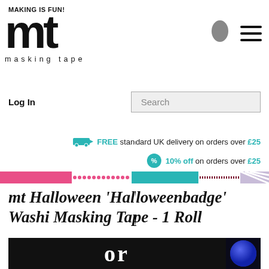MAKING IS FUN!
[Figure (logo): mt masking tape logo — large bold 'mt' letters with 'masking tape' text below in spaced letters]
[Figure (other): User account icon (grey oval) and hamburger menu icon (three horizontal lines)]
Log In
Search
FREE standard UK delivery on orders over £25
10% off on orders over £25
[Figure (other): Decorative washi tape strip banner — pink solid, pink dotted, teal solid, maroon dotted, purple stripe sections]
mt Halloween 'Halloweenbadge' Washi Masking Tape - 1 Roll
[Figure (photo): Product photo showing washi tape roll on black background with 'or' text visible and a blue circular badge on the right]